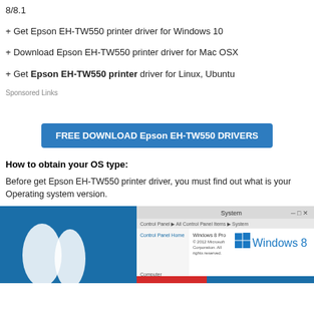8/8.1
+ Get Epson EH-TW550 printer driver for Windows 10
+ Download Epson EH-TW550 printer driver for Mac OSX
+ Get Epson EH-TW550 printer driver for Linux, Ubuntu
Sponsored Links
[Figure (other): Blue download button reading FREE DOWNLOAD Epson EH-TW550 DRIVERS]
How to obtain your OS type:
Before get Epson EH-TW550 printer driver, you must find out what is your Operating system version.
[Figure (screenshot): Screenshot of Windows 8 System Control Panel showing Windows 8 Pro, 2012 Microsoft Corporation, with Windows 8 logo and blue taskbar]